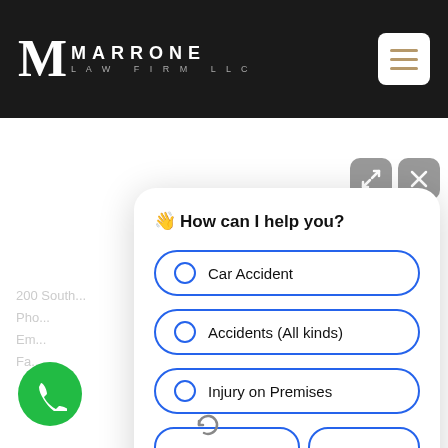Marrone Law Firm LLC
[Figure (screenshot): Chat widget showing 'How can I help you?' with options: Car Accident, Accidents (All kinds), Injury on Premises]
Car Accident
Accidents (All kinds)
Injury on Premises